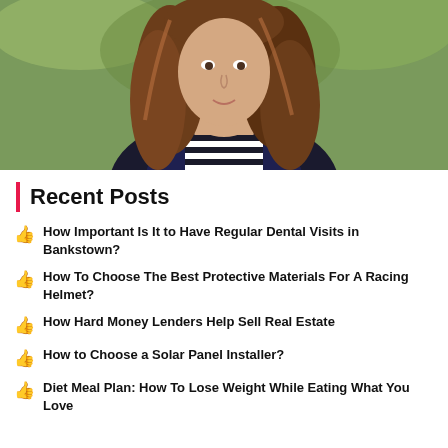[Figure (photo): Photo of a woman with long brown hair, wearing a navy blazer over a black-and-white striped shirt, against a green background]
Recent Posts
How Important Is It to Have Regular Dental Visits in Bankstown?
How To Choose The Best Protective Materials For A Racing Helmet?
How Hard Money Lenders Help Sell Real Estate
How to Choose a Solar Panel Installer?
Diet Meal Plan: How To Lose Weight While Eating What You Love